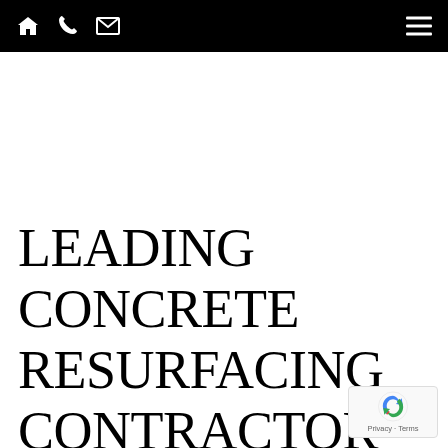Navigation bar with home, phone, email icons and hamburger menu
LEADING CONCRETE RESURFACING CONTRACTOR IN GOODYEAR AZ EXPLAINS THE